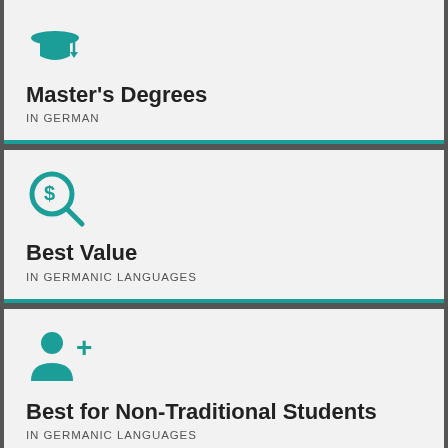[Figure (illustration): Teal graduation cap icon]
Master's Degrees
IN GERMAN
[Figure (illustration): Teal dollar sign magnifying glass icon]
Best Value
IN GERMANIC LANGUAGES
[Figure (illustration): Teal person with plus sign icon]
Best for Non-Traditional Students
IN GERMANIC LANGUAGES
[Figure (other): Petco advertisement showing Sterling location, OPEN 9AM-8PM, 22000 Dulles Retail Plaza, #110, Sterling]